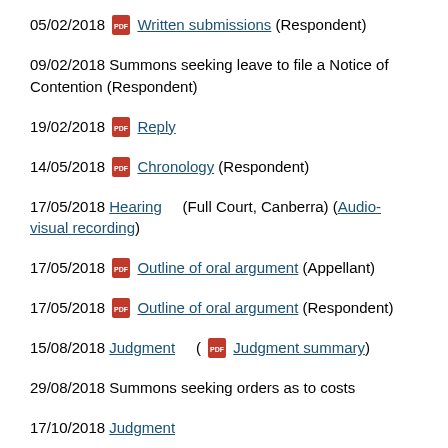05/02/2018 [PDF] Written submissions (Respondent)
09/02/2018 Summons seeking leave to file a Notice of Contention (Respondent)
19/02/2018 [PDF] Reply
14/05/2018 [PDF] Chronology (Respondent)
17/05/2018 Hearing (Full Court, Canberra) (Audio-visual recording)
17/05/2018 [PDF] Outline of oral argument (Appellant)
17/05/2018 [PDF] Outline of oral argument (Respondent)
15/08/2018 Judgment ( [PDF] Judgment summary)
29/08/2018 Summons seeking orders as to costs
17/10/2018 Judgment